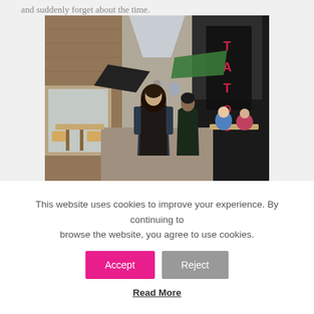and suddenly forget about the time.
[Figure (photo): A narrow European alley/street with people sitting at outdoor cafe tables on either side. A woman with long dark hair is walking away from the camera down the center of the lane. Buildings with brick facades and shop awnings line both sides. A black banner with red text reading 'TATOO' is visible on the right.]
WALK AND EXPLORE THE
This website uses cookies to improve your experience. By continuing to browse the website, you agree to use cookies.
Accept
Reject
Read More